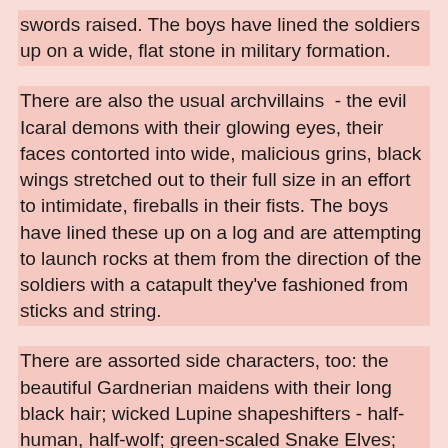swords raised. The boys have lined the soldiers up on a wide, flat stone in military formation.
There are also the usual archvillains  - the evil Icaral demons with their glowing eyes, their faces contorted into wide, malicious grins, black wings stretched out to their full size in an effort to intimidate, fireballs in their fists. The boys have lined these up on a log and are attempting to launch rocks at them from the direction of the soldiers with a catapult they've fashioned from sticks and string.
There are assorted side characters, too: the beautiful Gardnerian maidens with their long black hair; wicked Lupine shapeshifters - half-human, half-wolf; green-scaled Snake Elves; and the mysterious Vu Trin sorceresses. They're characters from the storybooks and songs of my childhood, as familiar to me as the old patchwork quilt that lies on my bed.